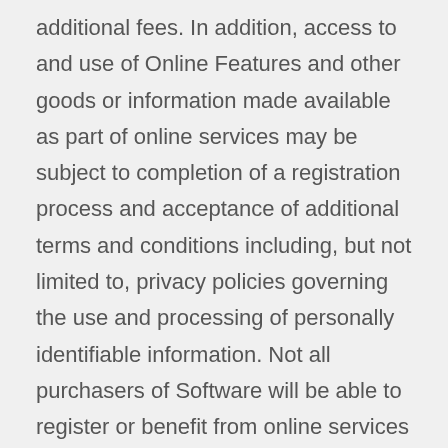additional fees. In addition, access to and use of Online Features and other goods or information made available as part of online services may be subject to completion of a registration process and acceptance of additional terms and conditions including, but not limited to, privacy policies governing the use and processing of personally identifiable information. Not all purchasers of Software will be able to register or benefit from online services (including Online Features associated with the Software). Online services and Online Features may not be available in every country, are not guaranteed to be available for any period of time, may be subject to suspension or withdrawal at any time and may be subject to age restrictions. An